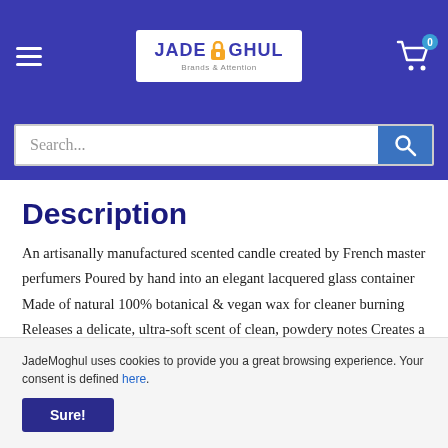JadeMoghul — navigation header with logo, hamburger menu, and cart icon (0 items)
[Figure (screenshot): JadeMoghul logo in white box: JADE with lock icon MOGHUL, tagline below]
Search...
Description
An artisanally manufactured scented candle created by French master perfumers Poured by hand into an elegant lacquered glass container Made of natural 100% botanical & vegan wax for cleaner burning Releases a delicate, ultra-soft scent of clean, powdery notes Creates a cocoon-like, comfortable atmosphere with a silky trail The cotton
JadeMoghul uses cookies to provide you a great browsing experience. Your consent is defined here.